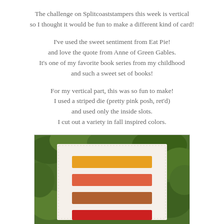The challenge on Splitcoaststampers this week is vertical so I thought it would be fun to make a different kind of card!
I've used the sweet sentiment from Eat Pie! and love the quote from Anne of Green Gables. It's one of my favorite book series from my childhood and such a sweet set of books!
For my vertical part, this was so fun to make! I used a striped die (pretty pink posh, ret'd) and used only the inside slots. I cut out a variety in fall inspired colors.
[Figure (photo): Photo of a handmade vertical card with fall-colored striped die cuts (yellow-orange, salmon-red, brown, red) on a cream card base, photographed against green foliage background.]